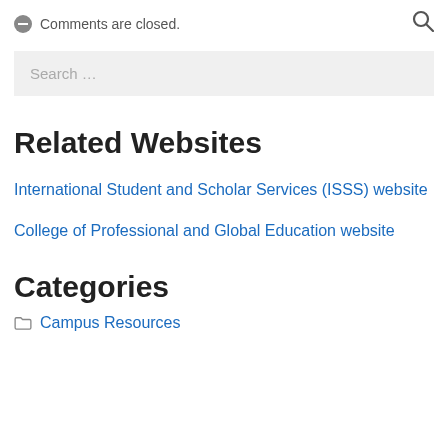Comments are closed.
Search …
Related Websites
International Student and Scholar Services (ISSS) website
College of Professional and Global Education website
Categories
Campus Resources